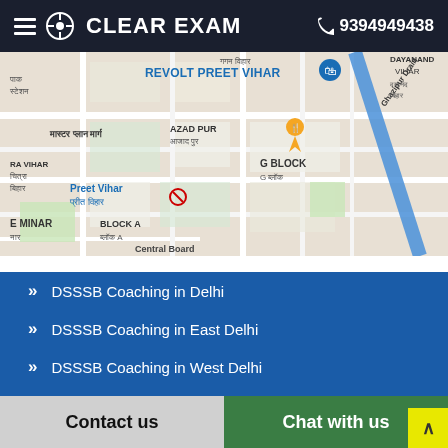CLEAR EXAM | 9394949438
[Figure (map): Google Maps screenshot showing Preet Vihar area in Delhi, with REVOLT PREET VIHAR marker, Azad Pur, G Block, Ghazipur Drain, and surrounding streets labeled in English and Hindi.]
DSSSB Coaching in Delhi
DSSSB Coaching in East Delhi
DSSSB Coaching in West Delhi
DSSSB Coaching in North Delhi
Contact us | Chat with us